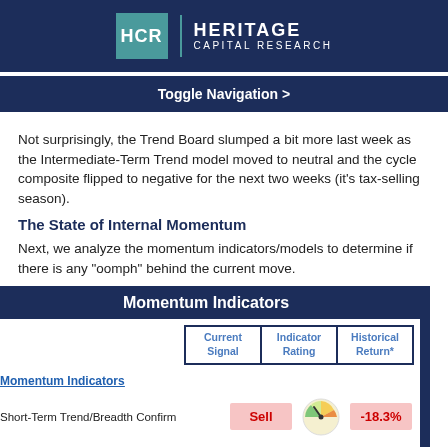HCR | HERITAGE CAPITAL RESEARCH
Toggle Navigation >
Not surprisingly, the Trend Board slumped a bit more last week as the Intermediate-Term Trend model moved to neutral and the cycle composite flipped to negative for the next two weeks (it's tax-selling season).
The State of Internal Momentum
Next, we analyze the momentum indicators/models to determine if there is any "oomph" behind the current move.
|  | Current Signal | Indicator Rating | Historical Return* |
| --- | --- | --- | --- |
| Momentum Indicators |  |  |  |
| Short-Term Trend/Breadth Confirm | Sell | [gauge] | -18.3% |